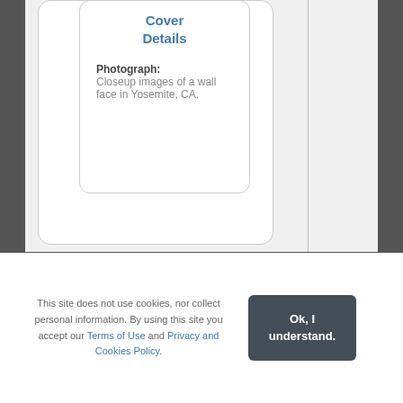Cover Details
Photograph: Closeup images of a wall face in Yosemite, CA.
This site does not use cookies, nor collect personal information. By using this site you accept our Terms of Use and Privacy and Cookies Policy.